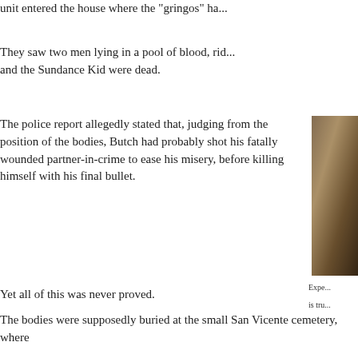unit entered the house where the "gringos" ha...
They saw two men lying in a pool of blood, rid... and the Sundance Kid were dead.
The police report allegedly stated that, judging from the position of the bodies, Butch had probably shot his fatally wounded partner-in-crime to ease his misery, before killing himself with his final bullet.
[Figure (photo): Dark atmospheric photo, partially visible on right edge of page]
Expe... is tru...
Yet all of this was never proved.
The bodies were supposedly buried at the small San Vicente cemetery, where they remain today.
But it was never really proved that the two "gri... Sundance. Some say the outlaw pair ultimately... United States, where they lived anonymously...
For local expert Felix Chalar, "there is enough... Butch and Sundance died in Bolivia".
And in the Bolivian mining town, the presence... and Sundance is deeply felt.